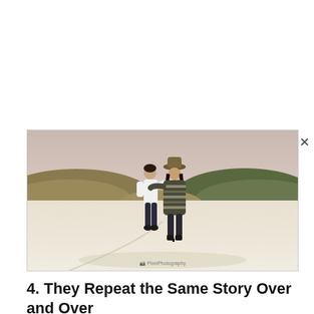[Figure (photo): A couple viewed from behind standing on a white salt flat or snowy landscape, with rolling hills in the background. The person on the left wears a white sweater and dark pants; the person on the right wears a patterned poncho and hat. They have their arms around each other. A small watermark/logo is visible near the bottom center of the image.]
4. They Repeat the Same Story Over and Over
Do you notice that your partner keeps repeating the same story time and again?